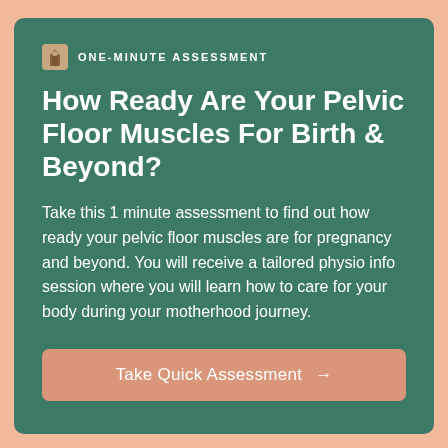ONE-MINUTE ASSESSMENT
How Ready Are Your Pelvic Floor Muscles For Birth & Beyond?
Take this 1 minute assessment to find out how ready your pelvic floor muscles are for pregnancy and beyond. You will receive a tailored physio info session where you will learn how to care for your body during your motherhood journey.
Take Quick Assessment →